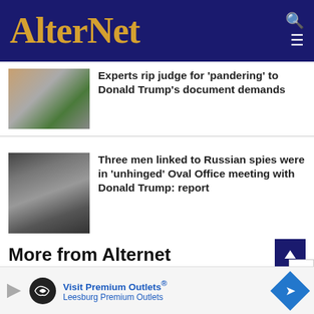AlterNet
[Figure (photo): Thumbnail image for first article about judge pandering to Trump]
Experts rip judge for 'pandering' to Donald Trump's document demands
[Figure (photo): Thumbnail image of two men shaking hands for Russian spies Oval Office article]
Three men linked to Russian spies were in 'unhinged' Oval Office meeting with Donald Trump: report
More from Alternet
'A political tragedy born from political calculus': Texas newspaper blasts Greg Abbott for 'reinforcing' a 'failed status quo' on guns - Alternet.org ›
[Figure (other): Advertisement banner: Visit Premium Outlets® Leesburg Premium Outlets]